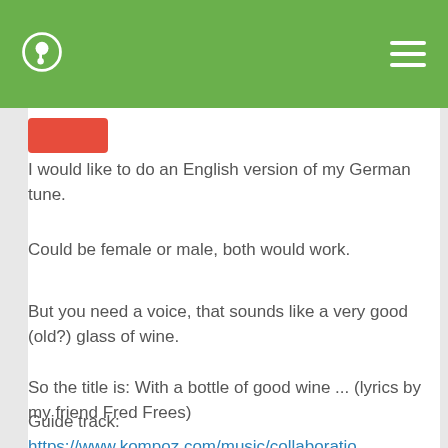Kompoz music collaboration — navigation header
I would like to do an English version of my German tune.
Could be female or male, both would work.
But you need a voice, that sounds like a very good (old?) glass of wine.
So the title is: With a bottle of good wine ... (lyrics by my friend Fred Frees)
German version:
https://www.kompoz.com/music/collaboratio...
Guide track:
https://www.kompoz.com/music/collaboratio...
After recording, we could drink a glass of good wine together in a zoom session :)